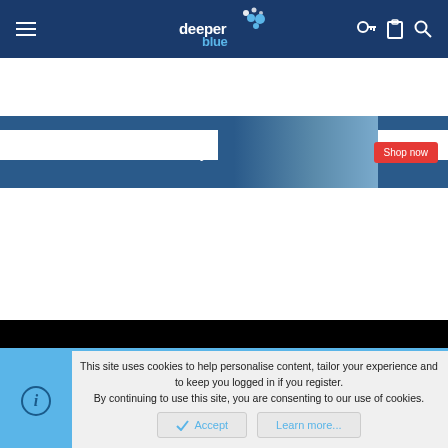[Figure (screenshot): DeeperBlue website navigation bar with hamburger menu, logo, and icons for login, cart, and search on dark blue background]
[Figure (screenshot): Suunto advertisement banner: 'Dive life made easy.' with Shop now button and photo of divers]
[Figure (logo): DeeperBlue logo on black background - white 'deeper' text and blue 'blue' text with blue bubble dots graphic]
This site uses cookies to help personalise content, tailor your experience and to keep you logged in if you register. By continuing to use this site, you are consenting to our use of cookies.
Accept
Learn more...